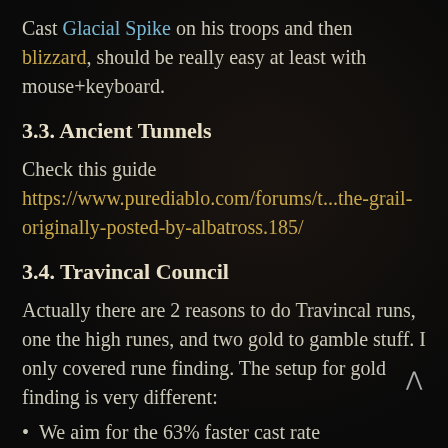Cast Glacial Spike on his troops and then blizzard, should be really easy at least with mouse+keyboard.
3.3. Ancient Tunnels
Check this guide https://www.purediablo.com/forums/t...the-grail-originally-posted-by-albatross.185/
3.4. Travincal Council
Actually there are 2 reasons to do Travincal runs, one the high runes, and two gold to gamble stuff. I only covered rune finding. The setup for gold finding is very different:
We aim for the 63% faster cast rate